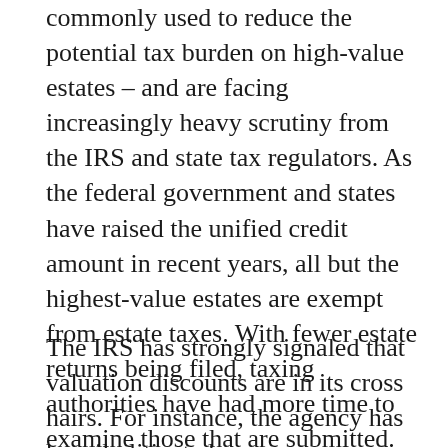commonly used to reduce the potential tax burden on high-value estates – and are facing increasingly heavy scrutiny from the IRS and state tax regulators. As the federal government and states have raised the unified credit amount in recent years, all but the highest-value estates are exempt from estate taxes. With fewer estate returns being filed, taxing authorities have had more time to examine those that are submitted.
The IRS has strongly signaled that valuation discounts are in its cross hairs. For instance, the agency has heavily litigated...